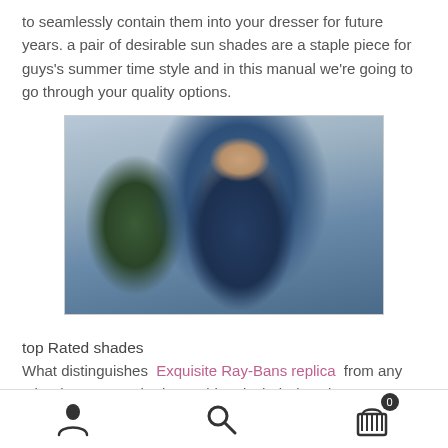to seamlessly contain them into your dresser for future years. a pair of desirable sun shades are a staple piece for guys's summer time style and in this manual we're going to go through your quality options.
[Figure (photo): A young man wearing sunglasses and a dark blue denim shirt, hand raised to his head, outdoors with blurred trees and sky in background.]
top Rated shades
What distinguishes Exquisite Ray-Bans replica from any other luxury sun shades emblem is their devotion to
Navigation bar with user icon, search icon, and shopping cart with badge showing 0